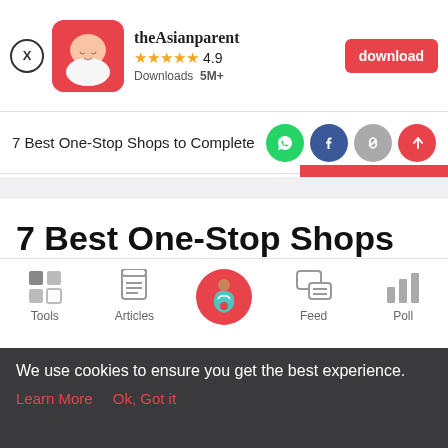[Figure (screenshot): App banner with theAsianparent logo, 4.9 star rating, 5M+ downloads, and red download button]
7 Best One-Stop Shops to Complete
[Figure (infographic): Social sharing icons: WhatsApp (green), Facebook (blue), link (gray), share (red)]
7 Best One-Stop Shops to Complete Your Kid's Primary School Needs
[Figure (infographic): Bottom navigation bar with Tools, Articles, home (pregnant woman icon), Feed, and Poll icons]
We use cookies to ensure you get the best experience.
Learn More   Ok, Got it